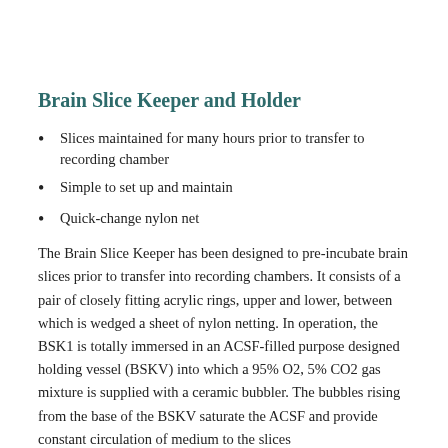Brain Slice Keeper and Holder
Slices maintained for many hours prior to transfer to recording chamber
Simple to set up and maintain
Quick-change nylon net
The Brain Slice Keeper has been designed to pre-incubate brain slices prior to transfer into recording chambers. It consists of a pair of closely fitting acrylic rings, upper and lower, between which is wedged a sheet of nylon netting. In operation, the BSK1 is totally immersed in an ACSF-filled purpose designed holding vessel (BSKV) into which a 95% O2, 5% CO2 gas mixture is supplied with a ceramic bubbler. The bubbles rising from the base of the BSKV saturate the ACSF and provide constant circulation of medium to the slices